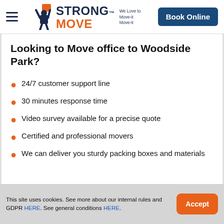STRONG MOVE™ — We Love to Move-it Move-it | Book Online
Looking to Move office to Woodside Park?
24/7 customer support line
30 minutes response time
Video survey available for a precise quote
Certified and professional movers
We can deliver you sturdy packing boxes and materials
This site uses cookies. See more about our internal rules and GDPR HERE. See general conditions HERE.